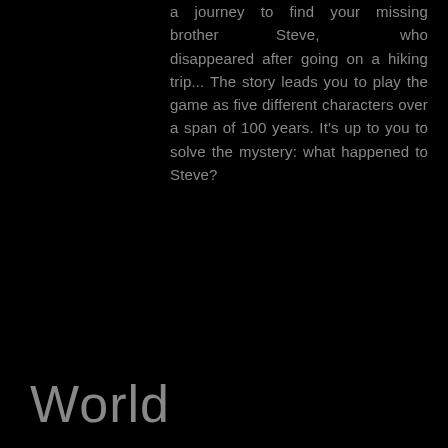a journey to find your missing brother Steve, who disappeared after going on a hiking trip... The story leads you to play the game as five different characters over a span of 100 years. It's up to you to solve the mystery: what happened to Steve?
World